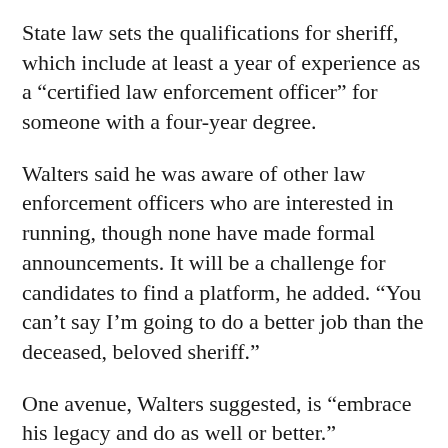State law sets the qualifications for sheriff, which include at least a year of experience as a “certified law enforcement officer” for someone with a four-year degree.
Walters said he was aware of other law enforcement officers who are interested in running, though none have made formal announcements. It will be a challenge for candidates to find a platform, he added. “You can’t say I’m going to do a better job than the deceased, beloved sheriff.”
One avenue, Walters suggested, is “ambrace his legacy and do as well or better.”
Turnout will also be key. It’s typically low for special elections, and the primaries fall between holidays.
Whoever is elected in February to replace Cribb